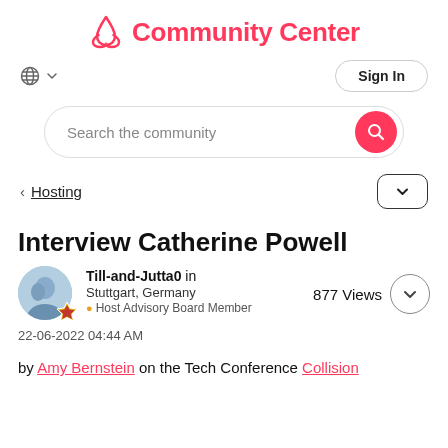Community Center
Sign In
Search the community
Hosting
Interview Catherine Powell
Till-and-Jutta0 in Stuttgart, Germany
Host Advisory Board Member
22-06-2022 04:44 AM
877 Views
by Amy Bernstein on the Tech Conference Collision